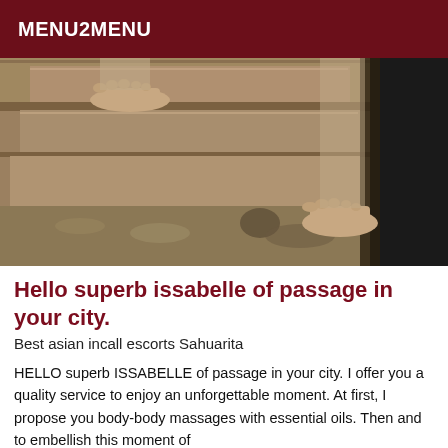MENU2MENU
[Figure (photo): Close-up photo of bare feet standing on stone/concrete steps outdoors, with dark fabric visible on the right side.]
Hello superb issabelle of passage in your city.
Best asian incall escorts Sahuarita
HELLO superb ISSABELLE of passage in your city. I offer you a quality service to enjoy an unforgettable moment. At first, I propose you body-body massages with essential oils. Then and to embellish this moment of